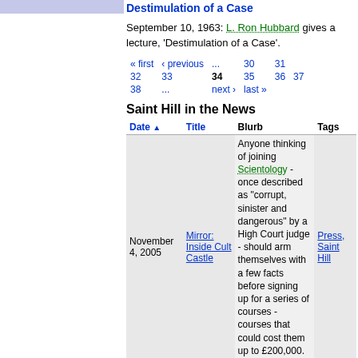Destimulation of a Case
September 10, 1963: L. Ron Hubbard gives a lecture, 'Destimulation of a Case'.
« first  ‹ previous  ...  30  31  32  33  34  35  36  37  38  ...  next ›  last »
Saint Hill in the News
| Date | Title | Blurb | Tags |
| --- | --- | --- | --- |
| November 4, 2005 | Mirror: Inside Cult Castle | Anyone thinking of joining Scientology - once described as "corrupt, sinister and dangerous" by a High Court judge - should arm themselves with a few facts before signing up for a series of courses - courses that could cost them up to £200,000. | Press, Saint Hill |
|  |  | The Scientologists call it "baby-watching", but it has nothing |  |